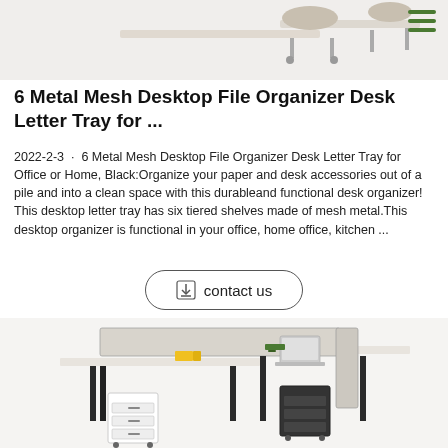[Figure (photo): Top portion of a desk/furniture product photo showing desk and chair tops on a white/light background, with a green hamburger menu icon in the top right corner.]
6 Metal Mesh Desktop File Organizer Desk Letter Tray for ...
2022-2-3 · 6 Metal Mesh Desktop File Organizer Desk Letter Tray for Office or Home, Black:Organize your paper and desk accessories out of a pile and into a clean space with this durableand functional desk organizer! This desktop letter tray has six tiered shelves made of mesh metal.This desktop organizer is functional in your office, home office, kitchen ...
[Figure (other): A download/contact us button with a download icon and the text 'contact us', with a rounded rectangle border.]
[Figure (photo): Office workstation cubicle desk set with partition panels, two desk surfaces in an L-shape, mobile pedestal drawers, and slim black angled legs on a white background.]